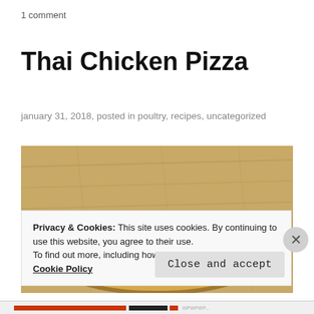1 comment
Thai Chicken Pizza
january 31, 2018, posted in poultry, recipes, uncategorized
[Figure (photo): A Thai Chicken Pizza topped with fresh arugula, red peppers, red onion, and other toppings, placed on a wooden surface.]
Privacy & Cookies: This site uses cookies. By continuing to use this website, you agree to their use.
To find out more, including how to control cookies, see here: Cookie Policy
Close and accept